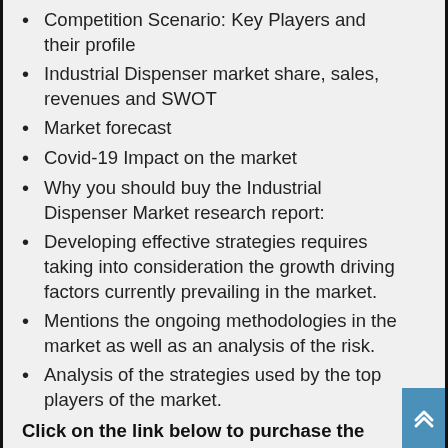Competition Scenario: Key Players and their profile
Industrial Dispenser market share, sales, revenues and SWOT
Market forecast
Covid-19 Impact on the market
Why you should buy the Industrial Dispenser Market research report:
Developing effective strategies requires taking into consideration the growth driving factors currently prevailing in the market.
Mentions the ongoing methodologies in the market as well as an analysis of the risk.
Analysis of the strategies used by the top players of the market.
Click on the link below to purchase the complete report: